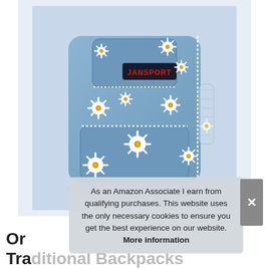[Figure (photo): A JanSport backpack with a blue daisy/flower pattern printed all over it. The backpack has a main compartment with a zipper, a front pocket, and a side mesh pocket. A black label with 'JANSPORT' in red text is visible on the front.]
As an Amazon Associate I earn from qualifying purchases. This website uses the only necessary cookies to ensure you get the best experience on our website. More information
Or
Traditional Backpacks